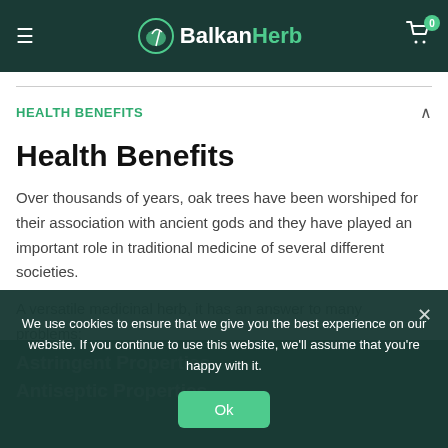≡ BalkanHerb (cart: 0)
HEALTH BENEFITS
Health Benefits
Over thousands of years, oak trees have been worshiped for their association with ancient gods and they have played an important role in traditional medicine of several different societies.
A versatile medicinal herb, it has an answer to many problems:
Astringent Properties
Antiseptic Properties
We use cookies to ensure that we give you the best experience on our website. If you continue to use this website, we'll assume that you're happy with it.